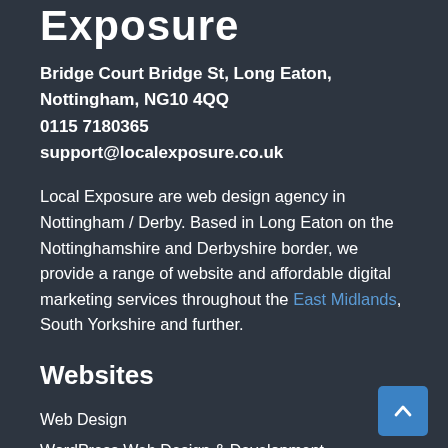Exposure
Bridge Court Bridge St, Long Eaton, Nottingham, NG10 4QQ
0115 7180365
support@localexposure.co.uk
Local Exposure are web design agency in Nottingham / Derby. Based in Long Eaton on the Nottinghamshire and Derbyshire border, we provide a range of website and affordable digital marketing services throughout the East Midlands, South Yorkshire and further.
Websites
Web Design
WordPress Web Design & Development
CMS Web Design
Responsive Web Design